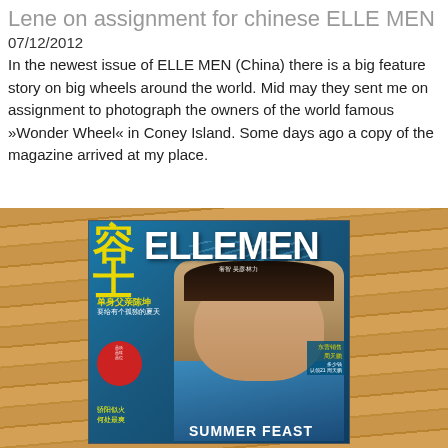Lene on assignment for chinese ELLE MEN
07/12/2012
In the newest issue of ELLE MEN (China) there is a big feature story on big wheels around the world. Mid may they sent me on assignment to photograph the owners of the world famous »Wonder Wheel« in Coney Island. Some days ago a copy of the magazine arrived at my place.
[Figure (photo): A copy of Chinese ELLE MEN magazine cover featuring a male celebrity in a blue shirt, with yellow Chinese characters and ELLE MEN title, placed on a wooden surface.]